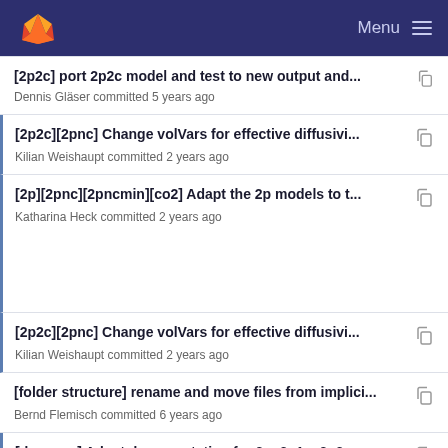Menu
[2p2c] port 2p2c model and test to new output and...
Dennis Gläser committed 5 years ago
[2p2c][2pnc] Change volVars for effective diffusivi...
Kilian Weishaupt committed 2 years ago
[2p][2pnc][2pncmin][co2] Adapt the 2p models to t...
Katharina Heck committed 2 years ago
[2p2c][2pnc] Change volVars for effective diffusivi...
Kilian Weishaupt committed 2 years ago
[folder structure] rename and move files from implici...
Bernd Flemisch committed 6 years ago
[doxygen] Adapt documentation for 2p, 2p1c, 2p2...